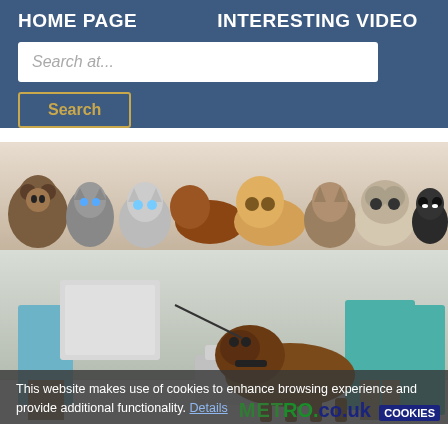HOME PAGE   INTERESTING VIDEO
Search at...
Search
[Figure (photo): A group of puppies and kittens of various breeds posed together in a row against a white background]
[Figure (photo): A dog on a leash sniffing a metal container in what appears to be a veterinary or medical facility, with people in blue medical gowns standing nearby]
This website makes use of cookies to enhance browsing experience and provide additional functionality. Details
[Figure (logo): Metro.co.uk logo in green and dark blue, with COOKIES button]